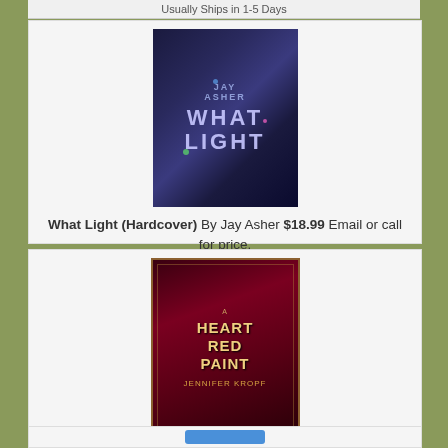Usually Ships in 1-5 Days
[Figure (photo): Book cover of 'What Light' by Jay Asher — dark blue/purple toned cover with bokeh lights and stylized text]
What Light (Hardcover) By Jay Asher $18.99 Email or call for price.
[Figure (photo): Book cover of 'A Heart as Red as Paint' by Jennifer Kropf — dark red/crimson cover with ornate floral design and gold lettering]
A Heart as Red as Paint (Paperback) By Jennifer Kropf $14.99 Email or call for price.